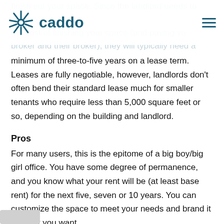caddo
finish out your space. Since the landlord needs to recoup the cost of finishing your space (and paying your broker and their broker), they will typically need a minimum of three-to-five years on a lease term. Leases are fully negotiable, however, landlords don't often bend their standard lease much for smaller tenants who require less than 5,000 square feet or so, depending on the building and landlord.
Pros
For many users, this is the epitome of a big boy/big girl office. You have some degree of permanence, and you know what your rent will be (at least base rent) for the next five, seven or 10 years. You can customize the space to meet your needs and brand it the way you want to best fit your image and culture. More building...